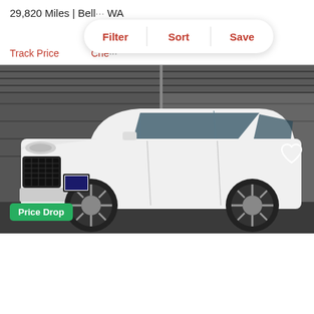29,820 Miles | Bell... WA
Filter | Sort | Save
Track Price   Che...
[Figure (photo): White 2019 Land Rover Range Rover SUV parked in front of a dark garage door, side-front view, large alloy wheels visible.]
Price Drop
2019 Land Rover Range
$112,900
Ro...